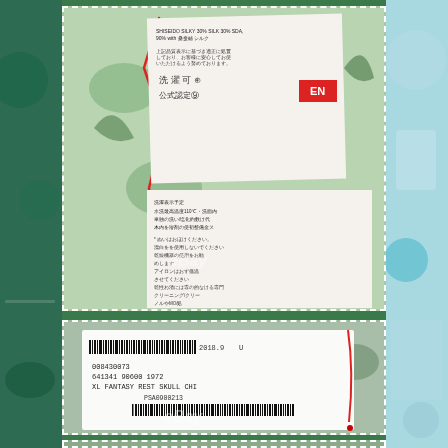[Figure (photo): eBay product listing photo collage on green background showing clothing care labels and price tags. Top panel shows a Japanese care label tag with Chinese/Japanese text about fabric composition (silk content) and washing instructions, with red cross-stitch decoration and a red 'EN' branded label. Below that shows detailed Japanese care instructions. Bottom panel shows a white price/barcode tag with barcode, SKU number 641341 90600 1972, description 'XL FANTASY REST  SKULL CHI', and barcode PSA0900213.]